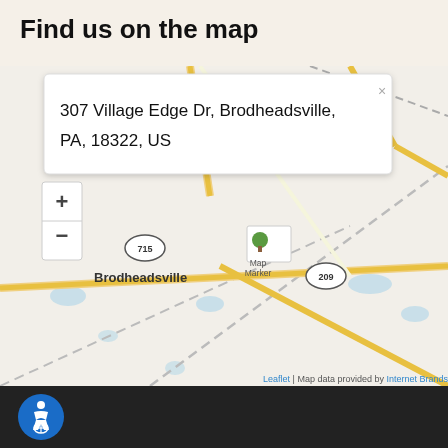Find us on the map
[Figure (map): Street map showing Brodheadsville, PA area with map marker at 307 Village Edge Dr, Brodheadsville, PA, 18322, US. Shows roads including routes 715 and 209, with a popup tooltip displaying the address. Map data provided by Internet Brands via Leaflet.]
Accessibility icon footer bar